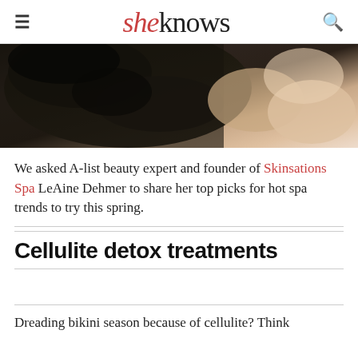sheknows
[Figure (photo): Woman lying down with a black facial mask applied to her face, photographed from above on a white background.]
We asked A-list beauty expert and founder of Skinsations Spa LeAine Dehmer to share her top picks for hot spa trends to try this spring.
Cellulite detox treatments
Dreading bikini season because of cellulite? Think